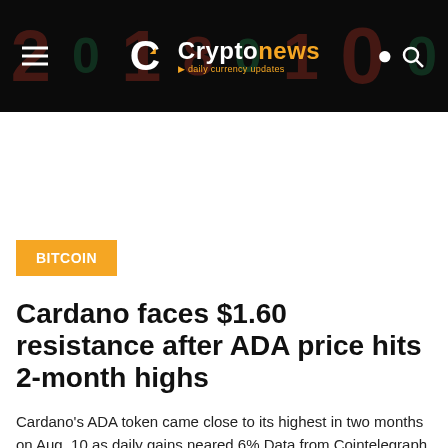Cryptonews · daily currency updates
BITCOIN
Cardano faces $1.60 resistance after ADA price hits 2-month highs
Cardano's ADA token came close to its highest in two months on Aug. 10 as daily gains neared 6%.Data from Cointelegraph Markets Pro and